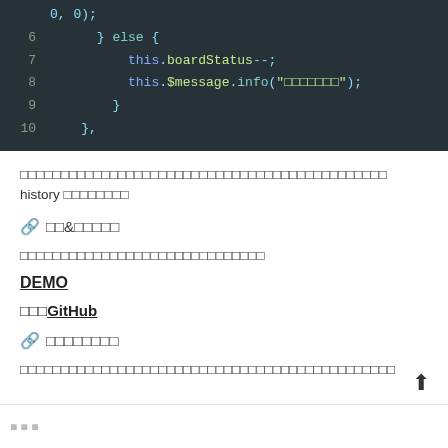[Figure (screenshot): Code block showing lines 6-10 of JavaScript/TypeScript code with syntax highlighting on dark background (#263238). Lines show: '} else {', 'this.boardStatus--;', 'this.$message.info("□□□□□□□");', '}', '},']
□□□□□□□□□□□□□□□□□□□□□□□□□□□□□□□□□□□□□□□□□□□□□ history □□□□□□□□
🔗 □□&□□□□□
□□□□□□□□□□□□□□□□□□□□□□□□□□□□□□
DEMO
□□□GitHub
🔗 □□□□□□□□
□□□□□□□□□□□□□□□□□□□□□□□□□□□□□□□□□□□□□□□□□□□□□□